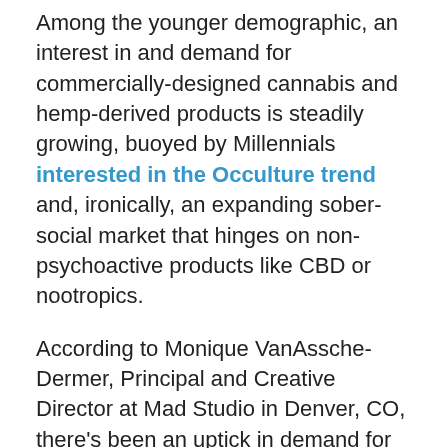Among the younger demographic, an interest in and demand for commercially-designed cannabis and hemp-derived products is steadily growing, buoyed by Millennials interested in the Occulture trend and, ironically, an expanding sober-social market that hinges on non-psychoactive products like CBD or nootropics.
According to Monique VanAssche-Dermer, Principal and Creative Director at Mad Studio in Denver, CO, there’s been an uptick in demand for sober-branded initiatives in the weed-friendly state. “We have the sober-curious crowd growing in numbers. Not only do we now have bars that cater specifically to a sober crowd, but we see a huge shift in cocktail menus in many restaurants that want to offer more to their patrons than an O’Doul’s NA beer.”